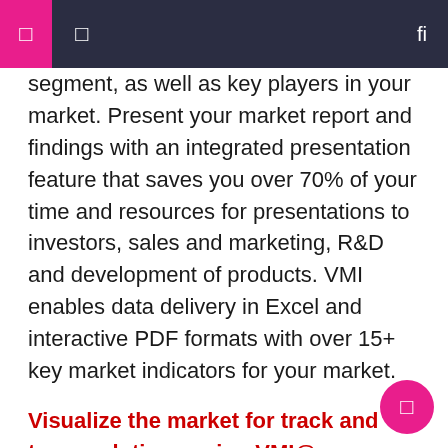☰ ☰ 🔍
segment, as well as key players in your market. Present your market report and findings with an integrated presentation feature that saves you over 70% of your time and resources for presentations to investors, sales and marketing, R&D and development of products. VMI enables data delivery in Excel and interactive PDF formats with over 15+ key market indicators for your market.
Visualize the market for track and trace solutions using VMI@ https://www.verifiedmarketresearch.com/vmintelligence/